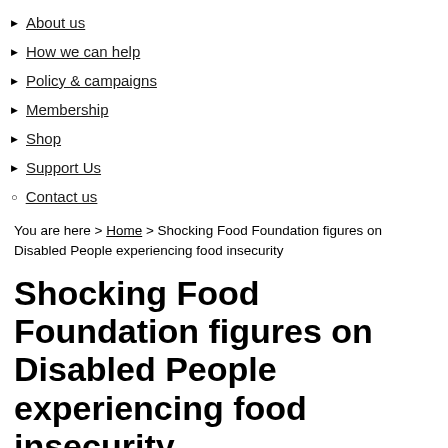About us
How we can help
Policy & campaigns
Membership
Shop
Support Us
Contact us
You are here > Home > Shocking Food Foundation figures on Disabled People experiencing food insecurity
Shocking Food Foundation figures on Disabled People experiencing food insecurity
11 March 2021